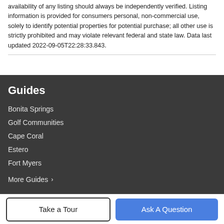availability of any listing should always be independently verified. Listing information is provided for consumers personal, non-commercial use, solely to identify potential properties for potential purchase; all other use is strictly prohibited and may violate relevant federal and state law. Data last updated 2022-09-05T22:28:33.843.
Guides
Bonita Springs
Golf Communities
Cape Coral
Estero
Fort Myers
More Guides >
Company